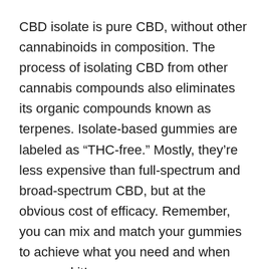CBD isolate is pure CBD, without other cannabinoids in composition. The process of isolating CBD from other cannabis compounds also eliminates its organic compounds known as terpenes. Isolate-based gummies are labeled as “THC-free.” Mostly, they’re less expensive than full-spectrum and broad-spectrum CBD, but at the obvious cost of efficacy. Remember, you can mix and match your gummies to achieve what you need and when you need it!
3. Match the CBD Potency With Your Needs
The potency of CBD in the product may affect